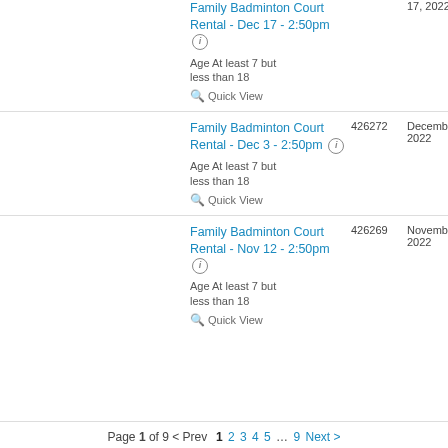Family Badminton Court Rental - Dec 17 - 2:50pm
Age At least 7 but less than 18
Quick View
17, 2022
Family Badminton Court Rental - Dec 3 - 2:50pm
426272
December 3, 2022
Age At least 7 but less than 18
Quick View
Family Badminton Court Rental - Nov 12 - 2:50pm
426269
November 12, 2022
Age At least 7 but less than 18
Quick View
Page 1 of 9 < Prev  1 2 3 4 5 … 9 Next >